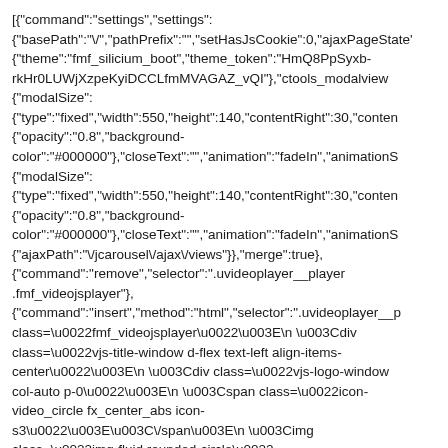[{"command":"settings","settings":
{"basePath":"\/","pathPrefix":"","setHasJsCookie":0,"ajaxPageState':
{"theme":"fmf_silicium_boot","theme_token":"HmQ8PpSyxb-
rkHr0LUWjXzpeKyiDCCLfmMVAGAZ_vQI"},{"ctools_modalview
{"modalSize":
{"type":"fixed","width":550,"height":140,"contentRight":30,"conten
{"opacity":"0.8","background-
color":"#000000"},{"closeText":"","animation":"fadeIn","animationS
{"modalSize":
{"type":"fixed","width":550,"height":140,"contentRight":30,"conten
{"opacity":"0.8","background-
color":"#000000"},{"closeText":"","animation":"fadeIn","animationS
{"ajaxPath":"\/jcarousel\/ajax\/views"}},{"merge":true},
{"command":"remove","selector":".uvideoplayer__player
.fmf_videojsplayer"},
{"command":"insert","method":"html","selector":".uvideoplayer__p
class=\u0022fmf_videojsplayer\u0022\u003E\n \u003Cdiv
class=\u0022vjs-title-window d-flex text-left align-items-
center\u0022\u003E\n \u003Cdiv class=\u0022vjs-logo-window
col-auto p-0\u0022\u003E\n \u003Cspan class=\u0022icon-
video_circle fx_center_abs icon-
s3\u0022\u003E\u003C\/span\u003E\n \u003Cimg
class=\u0022img-fluid rounded-circle\u0022
src=\u0022https:\/\/fanmusicfest.b-
cdn.net\/sites\/default\/files\/styles\/oscros_70x70\/public\/field\/imag